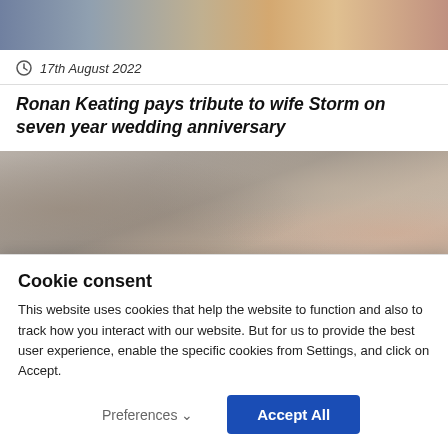[Figure (photo): Top portion of a photo showing people, partially cropped]
17th August 2022
Ronan Keating pays tribute to wife Storm on seven year wedding anniversary
[Figure (photo): Photo showing a stone wall background with a person's head visible at the bottom]
Cookie consent
This website uses cookies that help the website to function and also to track how you interact with our website. But for us to provide the best user experience, enable the specific cookies from Settings, and click on Accept.
Preferences ∨
Accept All